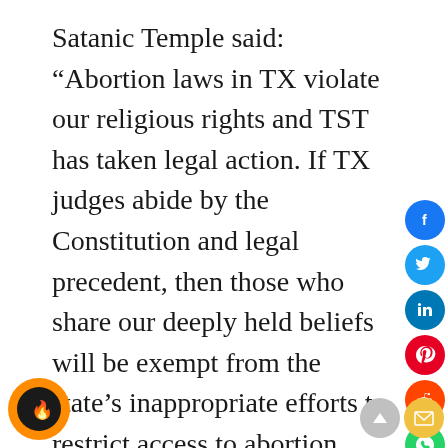Satanic Temple said: “Abortion laws in TX violate our religious rights and TST has taken legal action. If TX judges abide by the Constitution and legal precedent, then those who share our deeply held beliefs will be exempt from the state’s inappropriate efforts to restrict access to abortion services.”
The Temple of Satan, which was founded in 2013, has a record of activism. Its stated mission is: “to encourage benevolence and empathy, reject